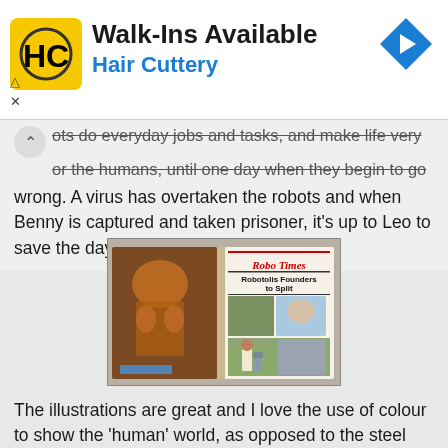[Figure (infographic): Advertisement banner for Hair Cuttery showing yellow logo with HC initials, text 'Walk-Ins Available' and 'Hair Cuttery' in blue, and a blue navigation arrow icon on the right. Below the ad content are forward/back navigation controls and an X button.]
ots do everyday jobs and tasks, and make life very or the humans, until one day when they begin to go wrong. A virus has overtaken the robots and when Benny is captured and taken prisoner, it's up to Leo to save the day.
[Figure (photo): A photograph of an open book/graphic novel placed on a concrete surface. The left page shows a dramatic illustration of robot characters in dark orange and brown tones. The right page shows a newspaper called 'Robo Times' with headline 'Robotolis Founders to Split' and scenes of a human character with robots in a green outdoor setting with buildings.]
The illustrations are great and I love the use of colour to show the 'human' world, as opposed to the steel greys used